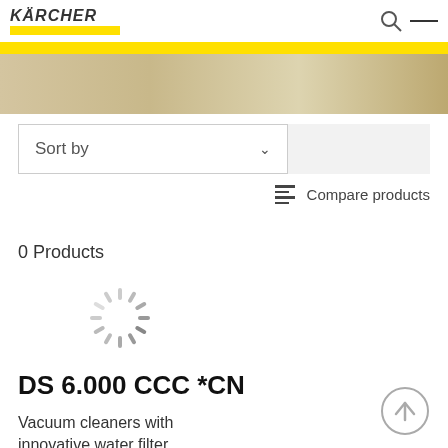KÄRCHER
[Figure (photo): Hero banner image showing a cleaning scene]
Sort by
Compare products
0 Products
[Figure (other): Loading spinner animation]
DS 6.000 CCC *CN
Vacuum cleaners with innovative water filter